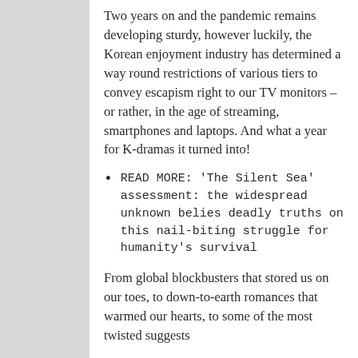Two years on and the pandemic remains developing sturdy, however luckily, the Korean enjoyment industry has determined a way round restrictions of various tiers to convey escapism right to our TV monitors – or rather, in the age of streaming, smartphones and laptops. And what a year for K-dramas it turned into!
READ MORE: 'The Silent Sea' assessment: the widespread unknown belies deadly truths on this nail-biting struggle for humanity's survival
From global blockbusters that stored us on our toes, to down-to-earth romances that warmed our hearts, to some of the most twisted suggests